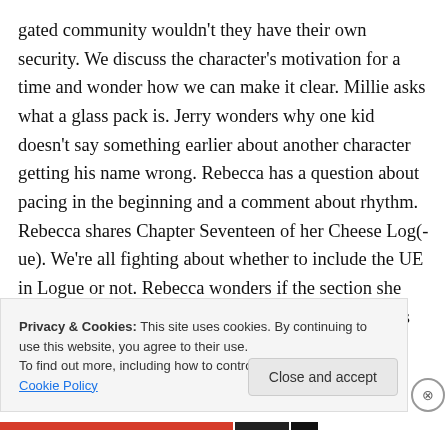gated community wouldn't they have their own security. We discuss the character's motivation for a time and wonder how we can make it clear. Millie asks what a glass pack is. Jerry wonders why one kid doesn't say something earlier about another character getting his name wrong. Rebecca has a question about pacing in the beginning and a comment about rhythm.
Rebecca shares Chapter Seventeen of her Cheese Log(-ue). We're all fighting about whether to include the UE in Logue or not. Rebecca wonders if the section she reads needs to be cut, but Pat liked it. Opinion in this piece is
Privacy & Cookies: This site uses cookies. By continuing to use this website, you agree to their use.
To find out more, including how to control cookies, see here: Cookie Policy